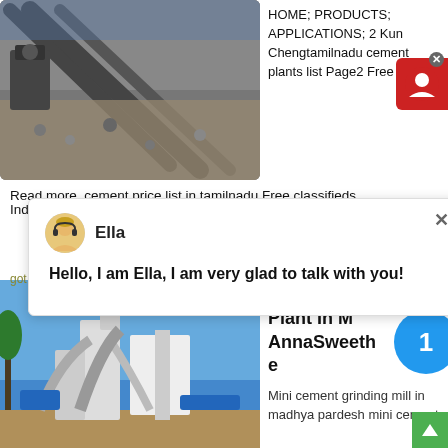[Figure (photo): Aerial view of a stone/gravel conveyor belt system at a mining or quarry site]
HOME; PRODUCTS; APPLICATIONS; 2 Kun Chengtamilnadu cement plants list Page2 Free Indian
Read more. cement price list in tamilnadu Free classifieds, Indian cement price list in tamilnadu We are producers, provi
[Figure (screenshot): Chat popup with avatar of agent named Ella saying: Hello, I am Ella, I am very glad to talk with you!]
got price
[Figure (photo): Industrial cement grinding mill facility with large pipes and silos against blue sky]
List Of Cement Plant In M AnnaSweeth e
Mini cement grinding mill in madhya pardesh mini cement